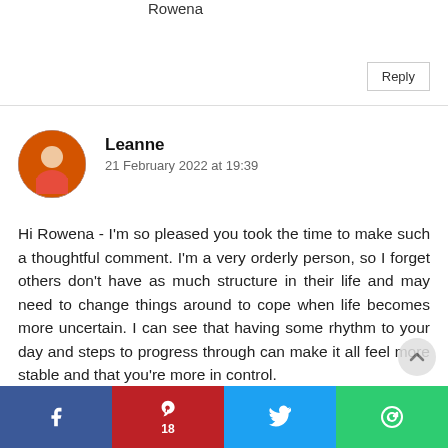Rowena
Reply
Leanne
21 February 2022 at 19:39
Hi Rowena - I'm so pleased you took the time to make such a thoughtful comment. I'm a very orderly person, so I forget others don't have as much structure in their life and may need to change things around to cope when life becomes more uncertain. I can see that having some rhythm to your day and steps to progress through can make it all feel more stable and that you're more in control.
[Figure (other): Social share bar with Facebook, Pinterest (18), Twitter, and another share icon buttons]